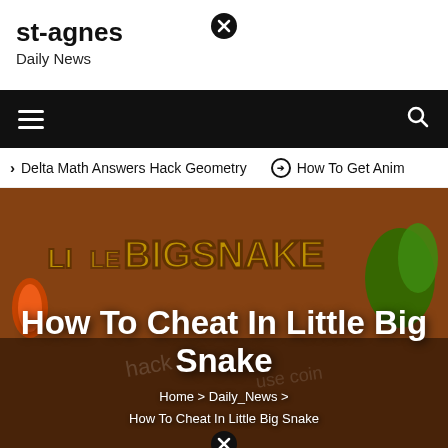st-agnes
Daily News
[Figure (screenshot): Navigation bar with hamburger menu on left and search icon on right, black background]
> Delta Math Answers Hack Geometry   ⊙ How To Get Anim
[Figure (screenshot): Hero image showing Little Big Snake game artwork with colorful snake characters on brown background. Contains text overlay: 'How To Cheat In Little Big Snake' and breadcrumb 'Home > Daily_News > How To Cheat In Little Big Snake']